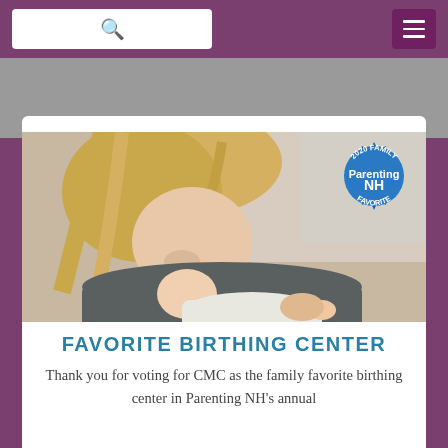[Search bar and navigation menu]
[Figure (photo): A mother with blonde hair kissing a newborn baby she holds in her arms, with a 2020 Family Favorite badge from ParentingNH overlaid in the top right corner of the image]
FAVORITE BIRTHING CENTER
Thank you for voting for CMC as the family favorite birthing center in Parenting NH's annual